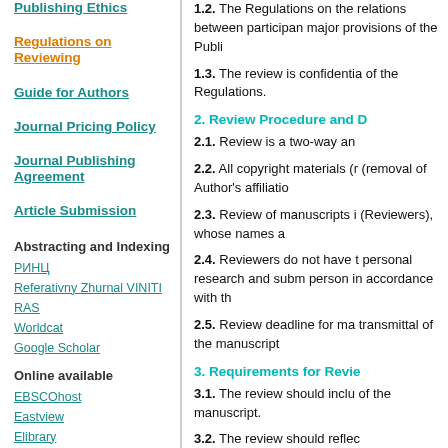Publishing Ethics
Regulations on Reviewing
Guide for Authors
Journal Pricing Policy
Journal Publishing Agreement
Article Submission
Abstracting and Indexing
РИНЦ
Referativny Zhurnal VINITI RAS
Worldcat
Google Scholar
Online available
EBSCOhost
Eastview
Elibrary
Biblioclub
1.2. The Regulations on the relations between participants major provisions of the Publi...
1.3. The review is confidential of the Regulations.
2. Review Procedure and D...
2.1. Review is a two-way an...
2.2. All copyright materials (r... (removal of Author's affiliatio...
2.3. Review of manuscripts i... (Reviewers), whose names a...
2.4. Reviewers do not have t... personal research and subm... person in accordance with th...
2.5. Review deadline for ma... transmittal of the manuscript...
3. Requirements for Revie...
3.1. The review should inclu... of the manuscript.
3.2. The review should reflec...